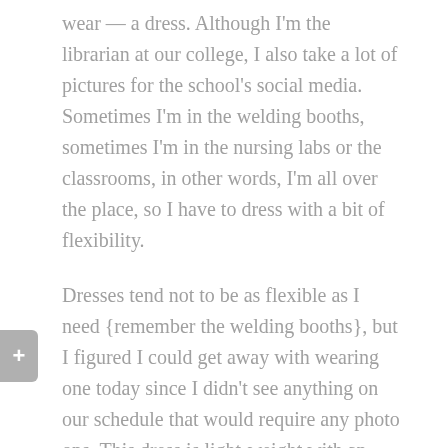wear — a dress. Although I'm the librarian at our college, I also take a lot of pictures for the school's social media. Sometimes I'm in the welding booths, sometimes I'm in the nursing labs or the classrooms, in other words, I'm all over the place, so I have to dress with a bit of flexibility.
Dresses tend not to be as flexible as I need {remember the welding booths}, but I figured I could get away with wearing one today since I didn't see anything on our schedule that would require any photo ops. This dress is light-weight with an abstract floral print. The bust/bodice is elasticated so there's no stretching across the chest, which can be issue. I also like the length... perfect for work.
Because it was windy, I opted to top my dress with a